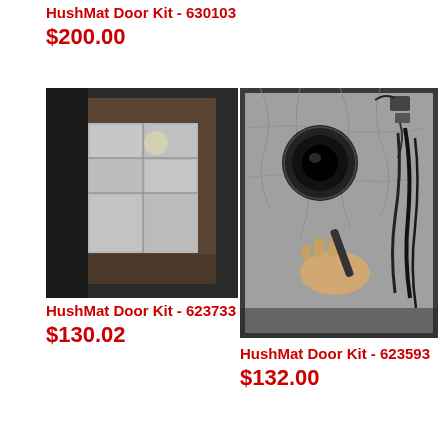HushMat Door Kit - 630103
$200.00
[Figure (photo): Car door interior with HushMat silver foil insulation applied in sections, showing wiring and door panels]
[Figure (photo): Car door interior with HushMat silver foil insulation applied, showing a speaker opening with a hand holding a tool near cables and wiring]
HushMat Door Kit - 623733
$130.02
HushMat Door Kit - 623593
$132.00